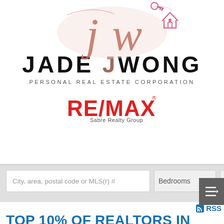[Figure (logo): Jade Wong Personal Real Estate Corporation logo with cursive JW monogram, key and house icon, RE/MAX Sabre Realty Group branding]
[Figure (screenshot): Website search bar with City/area/postal code or MLS(r)# input field, Bedrooms dropdown, and truncated Ba dropdown]
RSS
TOP 10% OF REALTORS IN GREATER VANCOUVER